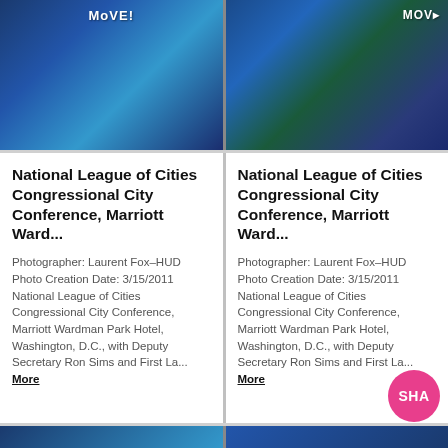[Figure (photo): Woman in red dress speaking at podium with American flags and 'MoVE!' banner in background, blue lighting]
[Figure (photo): Woman in orange/red dress walking on stage with American flags and 'MOVE' banner, audience visible]
National League of Cities Congressional City Conference, Marriott Ward...
Photographer: Laurent Fox–HUD Photo Creation Date: 3/15/2011 National League of Cities Congressional City Conference, Marriott Wardman Park Hotel, Washington, D.C., with Deputy Secretary Ron Sims and First La... More
National League of Cities Congressional City Conference, Marriott Ward...
Photographer: Laurent Fox–HUD Photo Creation Date: 3/15/2011 National League of Cities Congressional City Conference, Marriott Wardman Park Hotel, Washington, D.C., with Deputy Secretary Ron Sims and First La... More
[Figure (photo): Partial bottom strip showing blue-tinted conference photos]
[Figure (photo): Partial bottom strip showing blue-tinted conference photos]